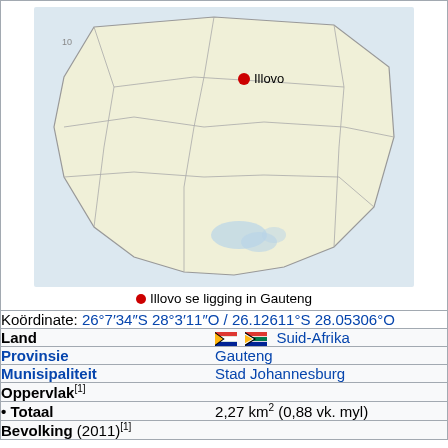[Figure (map): Map showing Illovo's location in Gauteng, South Africa. Light yellow regions with gray borders indicating municipal areas, with a red dot marking Illovo.]
Illovo se ligging in Gauteng
Koördinate: 26°7′34″S 28°3′11″O / 26.12611°S 28.05306°O
| Land | Suid-Afrika |
| Provinsie | Gauteng |
| Munisipaliteit | Stad Johannesburg |
| Oppervlak[1] |  |
| • Totaal | 2,27 km² (0,88 vk. myl) |
| Bevolking (2011)[1] |  |